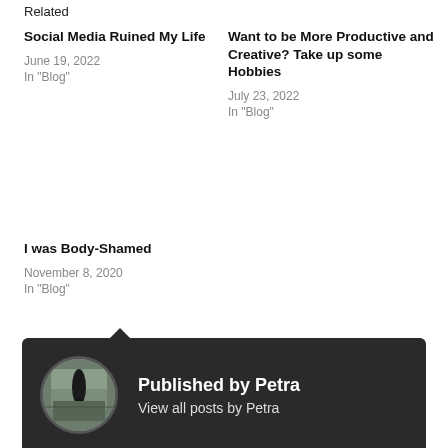Related
Social Media Ruined My Life
June 19, 2022
In "Blog"
Want to be More Productive and Creative? Take up some Hobbies
July 23, 2022
In "Blog"
I was Body-Shamed
November 8, 2020
In "Blog"
ANTIDEPRESSANTS
ANXIETY
BLOG
BLOGGING
BLOGGING COMMUNITY
DEPRESSION
Published by Petra
View all posts by Petra